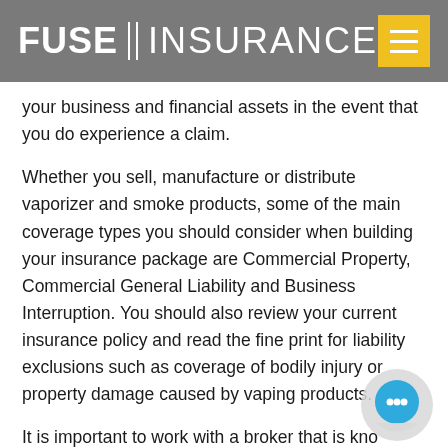FUSE INSURANCE
your business and financial assets in the event that you do experience a claim.
Whether you sell, manufacture or distribute vaporizer and smoke products, some of the main coverage types you should consider when building your insurance package are Commercial Property, Commercial General Liability and Business Interruption. You should also review your current insurance policy and read the fine print for liability exclusions such as coverage of bodily injury or property damage caused by vaping products.
It is important to work with a broker that is knowledgeable in the complexities of insuring a vape, smoke or e-cigarette retail store. The brokers at Fuse Insurance are experts in the specialist insurance area and understand the